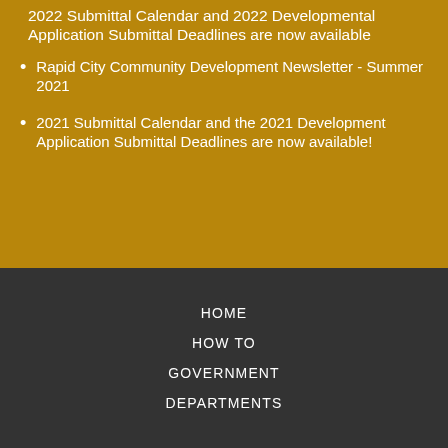2022 Submittal Calendar and 2022 Developmental Application Submittal Deadlines are now available
Rapid City Community Development Newsletter - Summer 2021
2021 Submittal Calendar and the 2021 Development Application Submittal Deadlines are now available!
HOME
HOW TO
GOVERNMENT
DEPARTMENTS